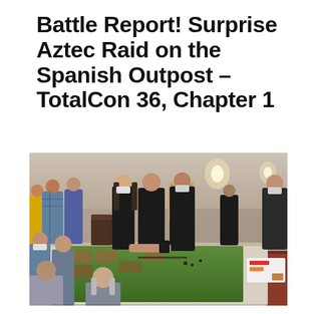Battle Report! Surprise Aztec Raid on the Spanish Outpost – TotalCon 36, Chapter 1
[Figure (photo): Group of people gathered around a large tabletop wargame board in a hotel convention hall. Several players wearing black t-shirts and masks are leaning over a green terrain board with miniature figures, while others stand in the background. The setting is a carpeted conference room with chandeliers visible in the background.]